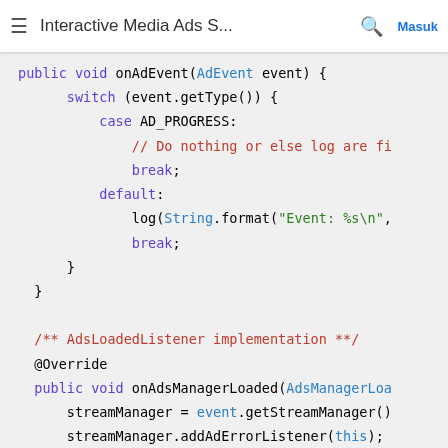≡  Interactive Media Ads S...  🔍  Masuk
public void onAdEvent(AdEvent event) {
    switch (event.getType()) {
        case AD_PROGRESS:
            // Do nothing or else log are fi
            break;
        default:
            log(String.format("Event: %s\n",
            break;
    }
}

/** AdsLoadedListener implementation **/
@Override
public void onAdsManagerLoaded(AdsManagerLoa
    streamManager = event.getStreamManager()
    streamManager.addAdErrorListener(this);
    streamManager.addAdEventListener(this);
    streamManager.init();
}